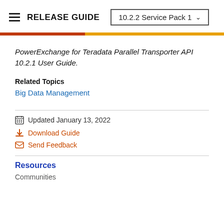RELEASE GUIDE  10.2.2 Service Pack 1
PowerExchange for Teradata Parallel Transporter API 10.2.1 User Guide.
Related Topics
Big Data Management
Updated January 13, 2022
Download Guide
Send Feedback
Resources
Communities